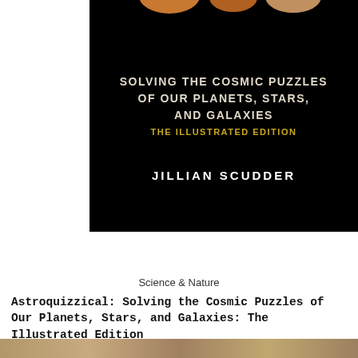[Figure (illustration): Book cover of Astroquizzical on black background with title text and author name. Top has partial planet/moon illustrations. Title reads 'Solving the Cosmic Puzzles of Our Planets, Stars, and Galaxies' with subtitle 'The Illustrated Edition' in gold. Author name 'Jillian Scudder' in white bold caps.]
[Figure (illustration): Row of five emoji-style face icons showing different emotional expressions: bored/dead face (pink), worried face (light yellow), nervous face (light green/cream), happy face (peach/salmon), heart-eyes face (light blue). A grey scroll-up button is visible on the right.]
Science & Nature
Astroquizzical: Solving the Cosmic Puzzles of Our Planets, Stars, and Galaxies: The Illustrated Edition
[Figure (photo): Partial bottom strip showing beginning of another image, appears to be a landscape or terrain photo in brownish tones.]